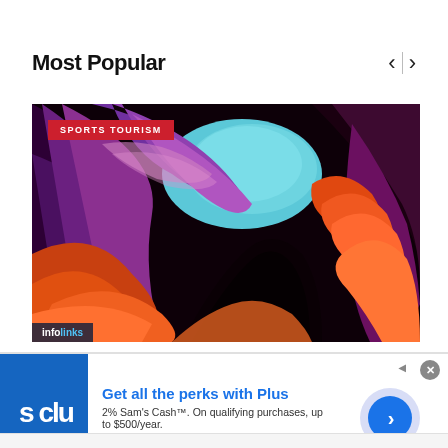Most Popular
[Figure (photo): Canyon rock formation with swirling red, orange, and purple rock walls with a blue sky opening — Sports Tourism category image]
SPORTS TOURISM
infolinks
[Figure (infographic): Advertisement banner for Sam's Club Plus membership — 'Get all the perks with Plus. 2% Sam's Cash™. On qualifying purchases, up to $500/year. www.samsclub.com']